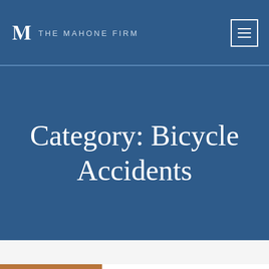THE MAHONE FIRM
Category: Bicycle Accidents